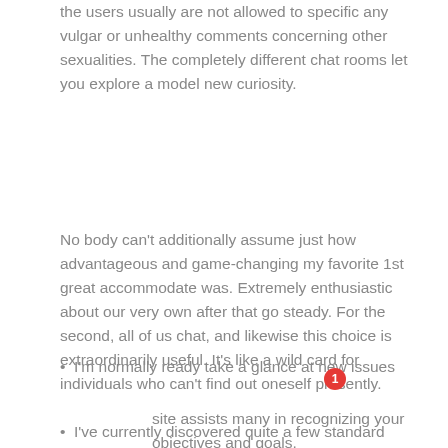the users usually are not allowed to specific any vulgar or unhealthy comments concerning other sexualities. The completely different chat rooms let you explore a model new curiosity.
No body can't additionally assume just how advantageous and game-changing my favorite 1st great accommodate was. Extremely enthusiastic about our very own after that go steady. For the second, all of us chat, and likewise this choice is extraordinarily useful. It's like a wild card for individuals who can't find out oneself presently.
I'm normally ready take a glance at new issues
[Figure (infographic): Green WhatsApp button with WhatsApp logo icon, text 'Iniciar chat en WhatsApp', and a red notification badge showing '1']
site assists many in recognizing your objectives and goals.
I've currently discovered quite a few standard